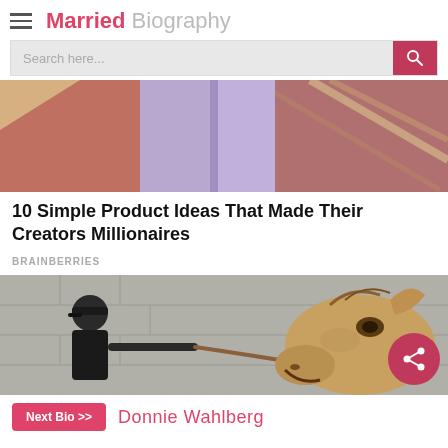Married Biography
[Figure (screenshot): Search bar with 'Search here...' placeholder and pink search button]
[Figure (photo): Abstract cropped image showing legs in lavender/purple leggings against colorful abstract background]
10 Simple Product Ideas That Made Their Creators Millionaires
BRAINBERRIES
[Figure (photo): Man in black cap and hoodie pulling a leash attached to a large horse/camel head near a concrete wall, with a pink share button overlay]
Next Bio >> Donnie Wahlberg